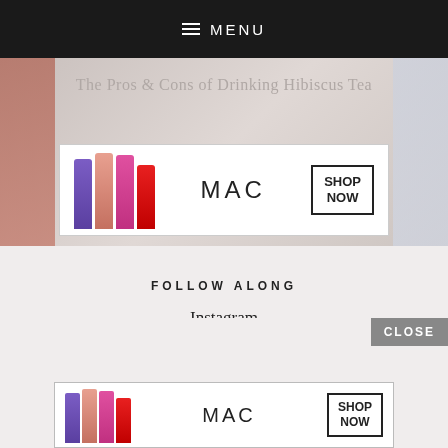≡ MENU
[Figure (screenshot): Hero image area with text 'The Pros & Cons of Drinking Hibiscus Tea' and a MAC cosmetics advertisement showing lipsticks with 'SHOP NOW' button]
FOLLOW ALONG
Instagram
Facebook
Pinterest
Bloglovin
[Figure (advertisement): MAC cosmetics banner ad at bottom showing colorful lipsticks, MAC logo, and SHOP NOW button with a CLOSE button above]